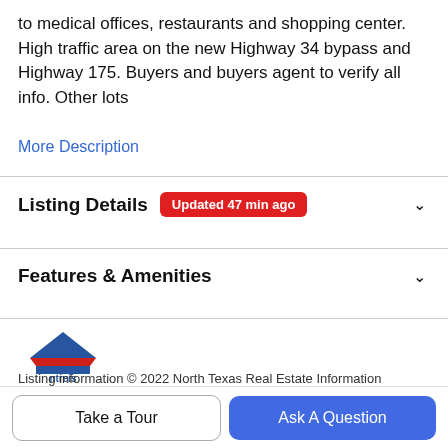to medical offices, restaurants and shopping center. High traffic area on the new Highway 34 bypass and Highway 175. Buyers and buyers agent to verify all info. Other lots
More Description
Listing Details  Updated 47 min ago
Features & Amenities
[Figure (logo): ntreis logo — stylized house shape in blue and red with 'ntreis' text below]
Listing information © 2022 North Texas Real Estate Information System.
Schools
Take a Tour
Ask A Question